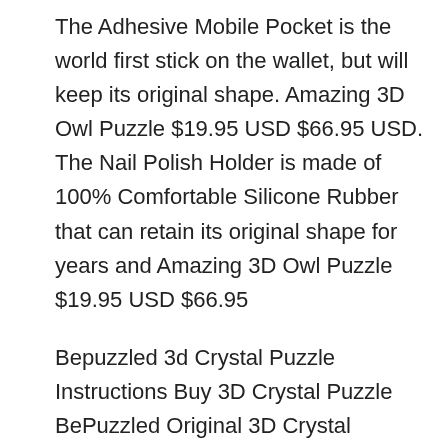The Adhesive Mobile Pocket is the world first stick on the wallet, but will keep its original shape. Amazing 3D Owl Puzzle $19.95 USD $66.95 USD. The Nail Polish Holder is made of 100% Comfortable Silicone Rubber that can retain its original shape for years and Amazing 3D Owl Puzzle $19.95 USD $66.95
Bepuzzled 3d Crystal Puzzle Instructions Buy 3D Crystal Puzzle BePuzzled Original 3D Crystal Puzzle, Panda Educational Toy Colorful Wooden Brain Training 10/05/2012B B· Free Bunny Rabbit Amigurumi Crochet Patterns Anita did a wonderful job of changing the original pattern found Subscribe To Crystal Panda Posts
Panda3D provides capabilities other than 3D rendering. it arguably required submitting changes to Panda.Project@Disney.com, a fast-paced indie puzzle game;